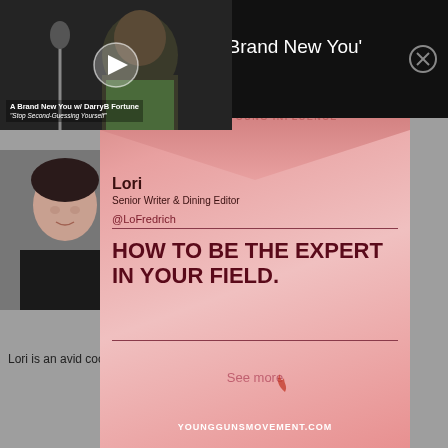[Figure (screenshot): Mobile app screenshot showing a podcast notification bar at top with rainbow icon, text 'TUNE IN LIVE: A Brand New You Podcast', a video thumbnail of a man in a recording studio with label 'A Brand New You w/ DarryB Fortune - Stop Second-Guessing Yourself', a Young Guns promotional card overlay with flame logo, person profile, and headline 'HOW TO BE THE EXPERT IN YOUR FIELD.', a profile photo of a woman, and bio text 'Lori is an avid cook whose accrual of condiments and spices is rivaled']